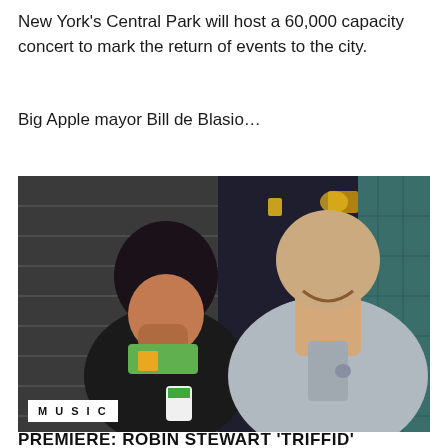New York's Central Park will host a 60,000 capacity concert to mark the return of events to the city.
Big Apple mayor Bill de Blasio...
[Figure (photo): Two people laughing outside a shop front. A woman with dark hair wearing a black jacket holds a cup, covering her mouth laughing. A bald man in a grey hoodie smiles broadly. A 'MUSIC' label is overlaid in the bottom left corner.]
PREMIERE: ROBIN STEWART 'TRIFFID'